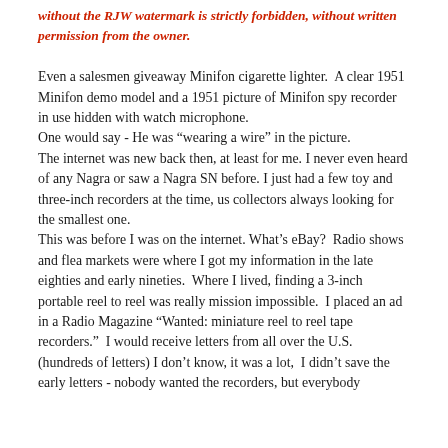without the RJW watermark is strictly forbidden, without written permission from the owner.
Even a salesmen giveaway Minifon cigarette lighter.  A clear 1951 Minifon demo model and a 1951 picture of Minifon spy recorder in use hidden with watch microphone.
One would say - He was “wearing a wire” in the picture.
The internet was new back then, at least for me. I never even heard of any Nagra or saw a Nagra SN before. I just had a few toy and three-inch recorders at the time, us collectors always looking for the smallest one.
This was before I was on the internet. What’s eBay?  Radio shows and flea markets were where I got my information in the late eighties and early nineties.  Where I lived, finding a 3-inch portable reel to reel was really mission impossible.  I placed an ad in a Radio Magazine “Wanted: miniature reel to reel tape recorders.”  I would receive letters from all over the U.S. (hundreds of letters) I don’t know, it was a lot,  I didn’t save the early letters - nobody wanted the recorders, but everybody